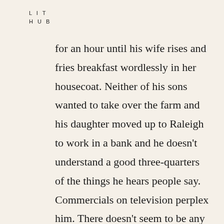L I T
H U B
for an hour until his wife rises and fries breakfast wordlessly in her housecoat. Neither of his sons wanted to take over the farm and his daughter moved up to Raleigh to work in a bank and he doesn't understand a good three-quarters of the things he hears people say. Commercials on television perplex him. There doesn't seem to be any logic to them, they begin in the middle and it's never quite clear to him what it is they're even